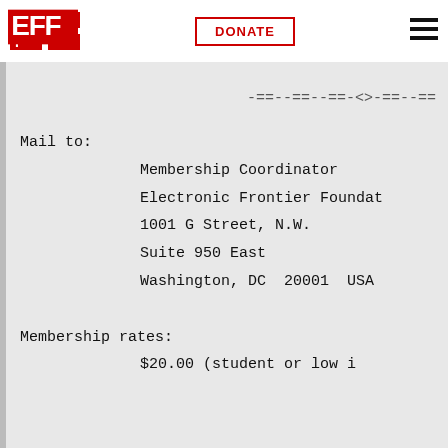EFF | DONATE | menu
memberships at $40.00 per year regular members.  You may, of course
-==-–==-–==-<>-==-–==
Mail to:
    Membership Coordinator
    Electronic Frontier Foundat
    1001 G Street, N.W.
    Suite 950 East
    Washington, DC  20001  USA
Membership rates:
    $20.00 (student or low i